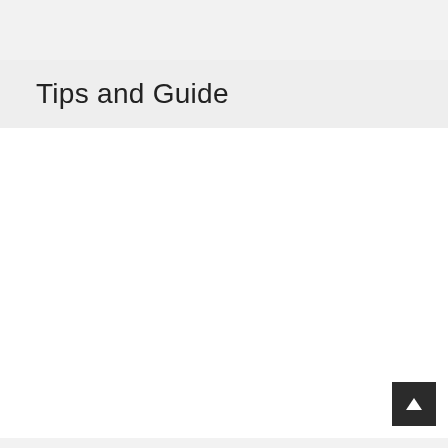Tips and Guide
[Figure (other): Large white blank content area, likely an advertisement or image placeholder]
Can you lose weight by jumping on